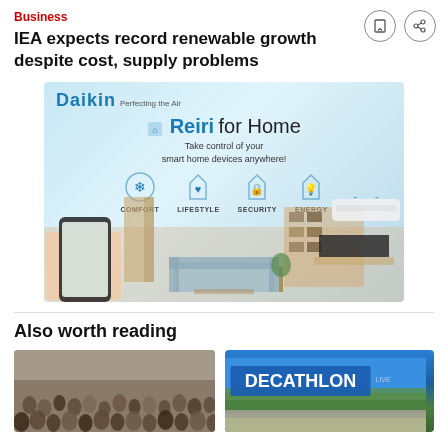Business
IEA expects record renewable growth despite cost, supply problems
[Figure (photo): Advertisement for Reiri for Home smart home app. Shows a smartphone with a smart home control app, a living room with AC unit, bookshelf, sofa, and TV. Icons for COMFORT, LIFESTYLE, SECURITY, ENERGY with house icons. Text: Reiri for Home – Take control of your smart home devices anywhere!]
Also worth reading
[Figure (photo): Thumbnail of a crowd of people outdoors in an urban area]
[Figure (photo): Thumbnail of a Decathlon store exterior with green wall and blue DECATHLON sign]